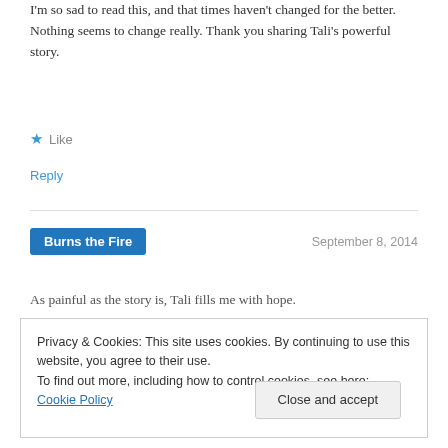I'm so sad to read this, and that times haven't changed for the better. Nothing seems to change really. Thank you sharing Tali's powerful story.
★ Like
Reply
Burns the Fire — September 8, 2014
As painful as the story is, Tali fills me with hope.
Privacy & Cookies: This site uses cookies. By continuing to use this website, you agree to their use.
To find out more, including how to control cookies, see here: Cookie Policy
Close and accept